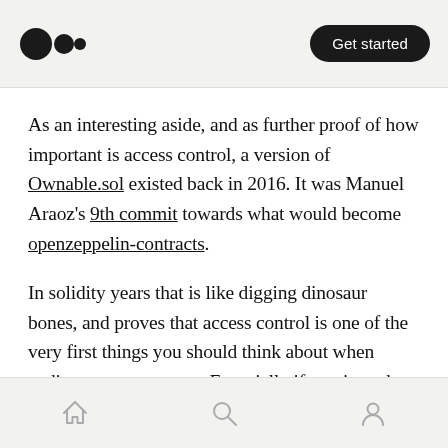Medium logo | Get started
As an interesting aside, and as further proof of how important is access control, a version of Ownable.sol existed back in 2016. It was Manuel Araoz's 9th commit towards what would become openzeppelin-contracts.
In solidity years that is like digging dinosaur bones, and proves that access control is one of the very first things you should think about when coding smart contracts. Especially if you intend to code robust ones.
Home | Search | Profile